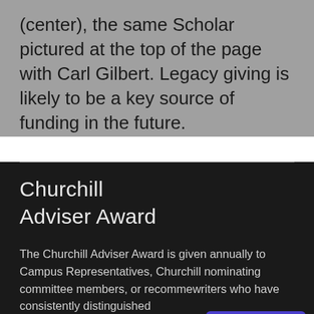(center), the same Scholar pictured at the top of the page with Carl Gilbert. Legacy giving is likely to be a key source of funding in the future.
Churchill
Adviser Award
The Churchill Adviser Award is given annually to Campus Representatives, Churchill nominating committee members, or recommended writers who have consistently distinguished